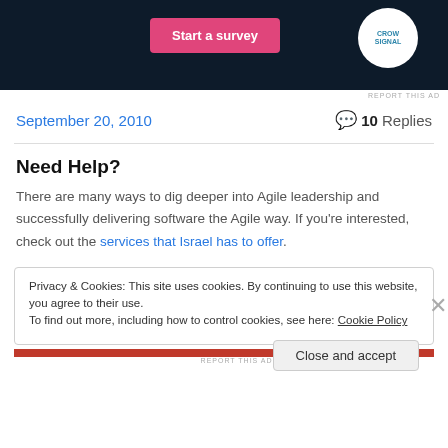[Figure (screenshot): Ad banner with dark background showing 'Start a survey' pink button and CrowdSignal logo on white circle]
REPORT THIS AD
September 20, 2010
10 Replies
Need Help?
There are many ways to dig deeper into Agile leadership and successfully delivering software the Agile way. If you're interested, check out the services that Israel has to offer.
Privacy & Cookies: This site uses cookies. By continuing to use this website, you agree to their use.
To find out more, including how to control cookies, see here: Cookie Policy
Close and accept